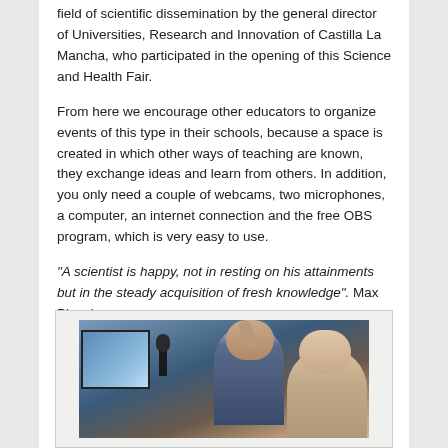field of scientific dissemination by the general director of Universities, Research and Innovation of Castilla La Mancha, who participated in the opening of this Science and Health Fair.
From here we encourage other educators to organize events of this type in their schools, because a space is created in which other ways of teaching are known, they exchange ideas and learn from others. In addition, you only need a couple of webcams, two microphones, a computer, an internet connection and the free OBS program, which is very easy to use.
“A scientist is happy, not in resting on his attainments but in the steady acquisition of fresh knowledge”. Max Planck
[Figure (photo): Photo of people working at computers with microphones, appearing to broadcast or record a science event.]